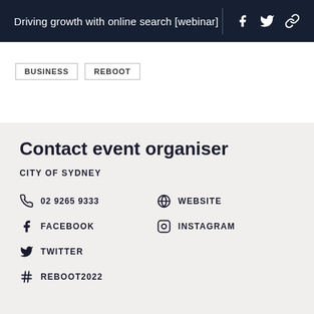Driving growth with online search [webinar]
BUSINESS
REBOOT
Contact event organiser
CITY OF SYDNEY
02 9265 9333
WEBSITE
FACEBOOK
INSTAGRAM
TWITTER
REBOOT2022